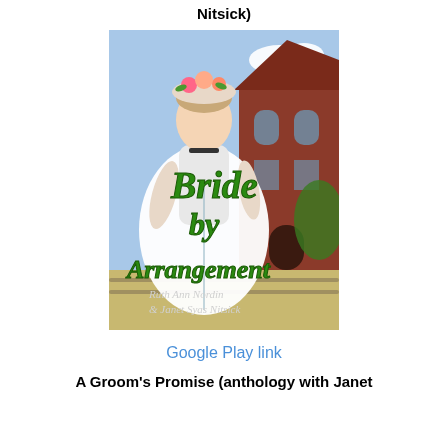Nitsick)
[Figure (illustration): Book cover for 'Bride by Arrangement' by Ruth Ann Nordin & Janet Syas Nitsick. Shows a woman in a white Victorian dress with flowers in her hair standing in front of a brick building. The title text is in large green italic script.]
Google Play link
A Groom's Promise (anthology with Janet